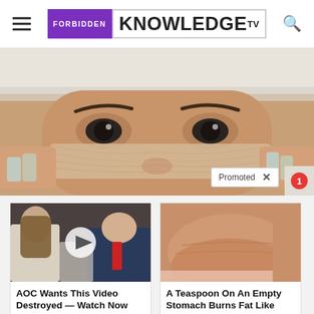FORBIDDEN KNOWLEDGE TV
[Figure (photo): Close-up of woman's face with a facial treatment/peel mask applied under her eyes, wearing a white towel on her head, with fingers pulling at the treatment. A 'Promoted X' badge and notification circle visible.]
[Figure (photo): Thumbnail of two people at a public event with a play button overlay]
AOC Wants This Video Destroyed — Watch Now Before It's Banned
Watch The Video
[Figure (photo): Close-up photo of a person's midsection showing belly fat]
A Teaspoon On An Empty Stomach Burns Fat Like Crazy!
Find Out More